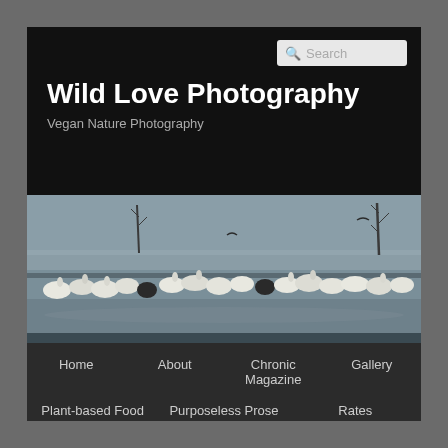Wild Love Photography
Vegan Nature Photography
[Figure (photo): A large flock of white pelicans standing in shallow water with bare trees in the background]
Home
About
Chronic Magazine
Gallery
Plant-based Food
Purposeless Prose
Rates
Starlings, house sparrows, and bigots